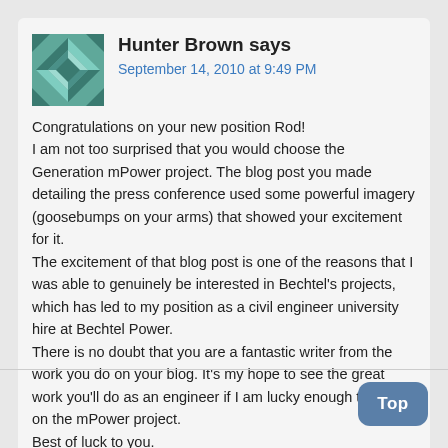Hunter Brown says
September 14, 2010 at 9:49 PM
Congratulations on your new position Rod! I am not too surprised that you would choose the Generation mPower project. The blog post you made detailing the press conference used some powerful imagery (goosebumps on your arms) that showed your excitement for it.
The excitement of that blog post is one of the reasons that I was able to genuinely be interested in Bechtel's projects, which has led to my position as a civil engineer university hire at Bechtel Power.
There is no doubt that you are a fantastic writer from the work you do on your blog. It's my hope to see the great work you'll do as an engineer if I am lucky enough to be put on the mPower project.
Best of luck to you.